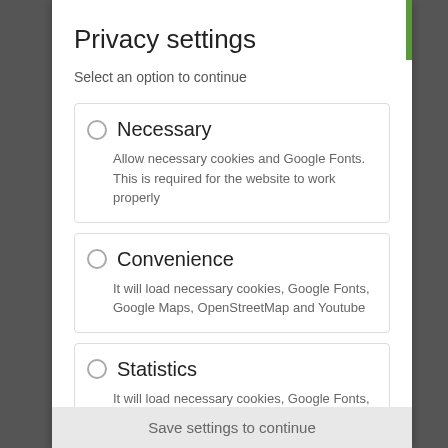Privacy settings
Select an option to continue
Necessary
Allow necessary cookies and Google Fonts. This is required for the website to work properly
Convenience
It will load necessary cookies, Google Fonts, Google Maps, OpenStreetMap and Youtube
Statistics
It will load necessary cookies, Google Fonts, Google Maps, OpenStreetMap, Youtube and Google Analytics
Save settings to continue